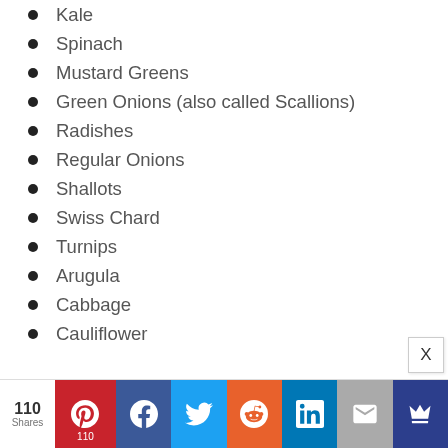Kale
Spinach
Mustard Greens
Green Onions (also called Scallions)
Radishes
Regular Onions
Shallots
Swiss Chard
Turnips
Arugula
Cabbage
Cauliflower